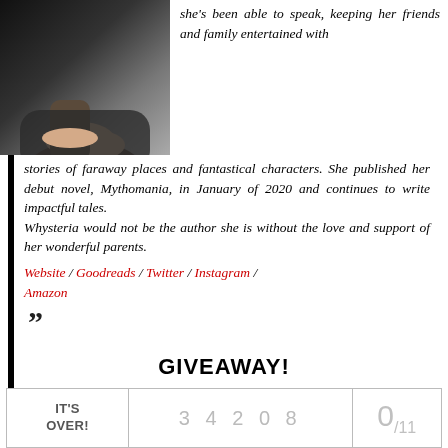[Figure (photo): Author photo showing a person wearing dark clothing, seated, with hands visible, dark background]
she's been able to speak, keeping her friends and family entertained with stories of faraway places and fantastical characters. She published her debut novel, Mythomania, in January of 2020 and continues to write impactful tales. Whysteria would not be the author she is without the love and support of her wonderful parents.
Website / Goodreads / Twitter / Instagram / Amazon
””
GIVEAWAY!
| IT'S OVER! | 3 4 2 0 8 | 0/11 |